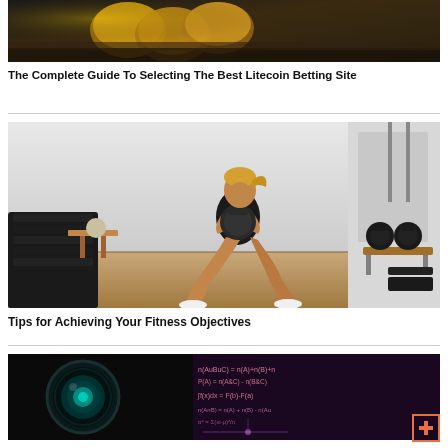[Figure (photo): Cryptocurrency/coins partially visible at top of page - cropped image]
The Complete Guide To Selecting The Best Litecoin Betting Site
[Figure (photo): Woman in black workout outfit doing a squat with a kettlebell in a gym setting]
Tips for Achieving Your Fitness Objectives
[Figure (photo): Partially visible image at bottom: appears to show a camera lens and mathematical equations on a chalkboard]